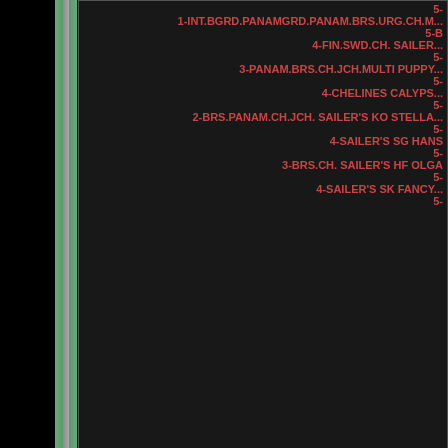5-
1-INT.BGRD.PANAMGRD.PANAM.BRS.URG.CH.M...
5-B
4-FIN.SWD.CH. SAILER...
5-
3-PANAM.BRS.CH.JCH.MULTI PUPPY...
5-
4-CHELINES CALYPS...
5-
2-BRS.PANAM.CH.JCH. SAILER'S KO STELLA...
5-
4-SAILER'S SG HANS
5-
3-BRS.CH. SAILER'S HF OLGA
5-
4-SAILER'S SK FANCY...
5-
BANHO. TOSA. H
San
Phones: (55-31) 99156 1399 D
E-MA
Nenhuma imagem ou material pode se
No imagens or materials may b